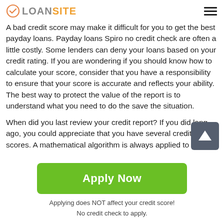LOANSITE
A bad credit score may make it difficult for you to get the best payday loans. Payday loans Spiro no credit check are often a little costly. Some lenders can deny your loans based on your credit rating. If you are wondering if you should know how to calculate your score, consider that you have a responsibility to ensure that your score is accurate and reflects your ability. The best way to protect the value of the report is to understand what you need to do the save the situation.
When did you last review your credit report? If you did long ago, you could appreciate that you have several credit scores. A mathematical algorithm is always applied to the
[Figure (other): Scroll to top button with upward arrow icon]
Apply Now
Applying does NOT affect your credit score!
No credit check to apply.